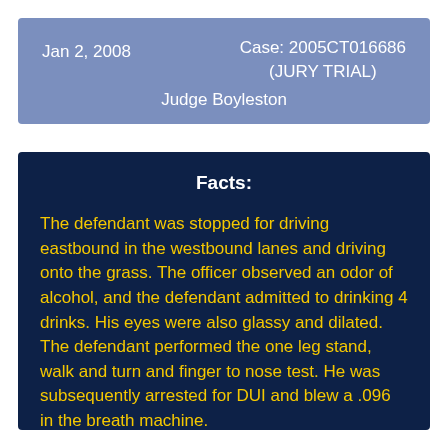Jan 2, 2008    Case: 2005CT016686 (JURY TRIAL)    Judge Boyleston
Facts:
The defendant was stopped for driving eastbound in the westbound lanes and driving onto the grass. The officer observed an odor of alcohol, and the defendant admitted to drinking 4 drinks. His eyes were also glassy and dilated. The defendant performed the one leg stand, walk and turn and finger to nose test. He was subsequently arrested for DUI and blew a .096 in the breath machine.